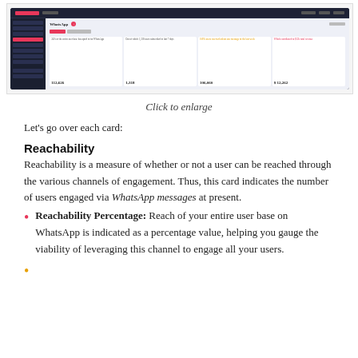[Figure (screenshot): WebEngage WhatsApp dashboard screenshot showing sidebar navigation and four metric cards: Reachability, Subscriptions, Messages, and Revenue]
Click to enlarge
Let's go over each card:
Reachability
Reachability is a measure of whether or not a user can be reached through the various channels of engagement. Thus, this card indicates the number of users engaged via WhatsApp messages at present.
Reachability Percentage: Reach of your entire user base on WhatsApp is indicated as a percentage value, helping you gauge the viability of leveraging this channel to engage all your users.